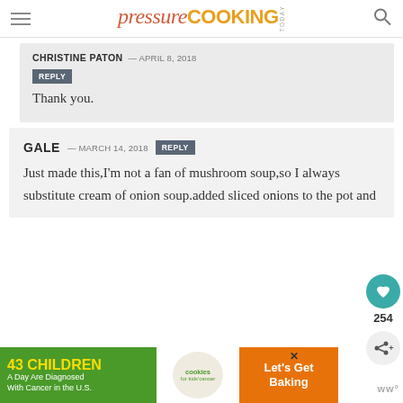pressure COOKING TODAY
CHRISTINE PATON — APRIL 8, 2018
REPLY
Thank you.
GALE — MARCH 14, 2018
REPLY
Just made this,I'm not a fan of mushroom soup,so I always substitute cream of onion soup.added sliced onions to the pot and
[Figure (other): Advertisement banner: 43 Children A Day Are Diagnosed With Cancer in the U.S. — cookies for kids cancer — Let's Get Baking]
254